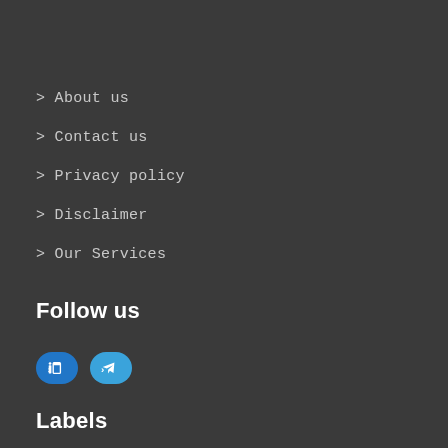> About us
> Contact us
> Privacy policy
> Disclaimer
> Our Services
Follow us
[Figure (other): Two social media buttons: LinkedIn and Telegram, with a right-arrow chevron and icon on each button.]
Labels